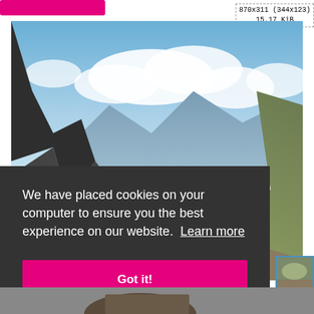[Figure (photo): Pink button at top left, partially cropped]
870x311 (344x123)
15.17 KiB
[Figure (photo): Mountain landscape photo with blue sky and clouds, rocky alpine terrain]
We have placed cookies on your computer to ensure you the best experience on our website.  Learn more
[Figure (photo): Got it! pink cookie consent button]
[Figure (photo): Small thumbnail image with blue border at bottom right, showing partial landscape]
[Figure (photo): Bottom strip showing partial person photo]